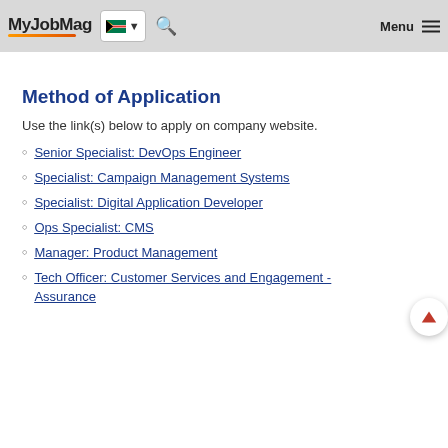MyJobMag [South Africa flag] Menu
Method of Application
Use the link(s) below to apply on company website.
Senior Specialist: DevOps Engineer
Specialist: Campaign Management Systems
Specialist: Digital Application Developer
Ops Specialist: CMS
Manager: Product Management
Tech Officer: Customer Services and Engagement - Assurance